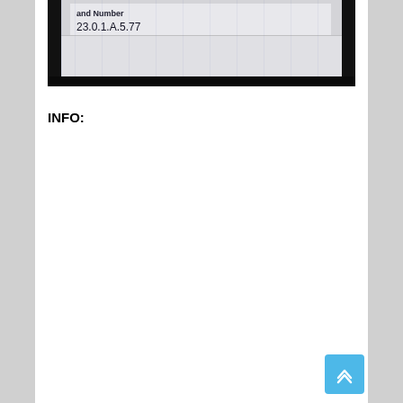[Figure (photo): A photo of a document or label showing text 'and Number' and '23.0.1.A.5.77' printed on paper, photographed at an angle with dark background visible.]
INFO: